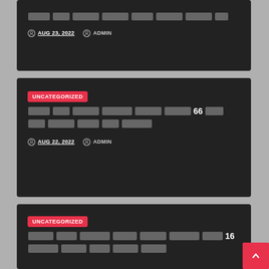[blocked title text] AUG 23, 2022  ADMIN
UNCATEGORIZED
[blocked title text] 66 [blocked text]
AUG 22, 2022  ADMIN
UNCATEGORIZED
[blocked title text] 16 [blocked text]